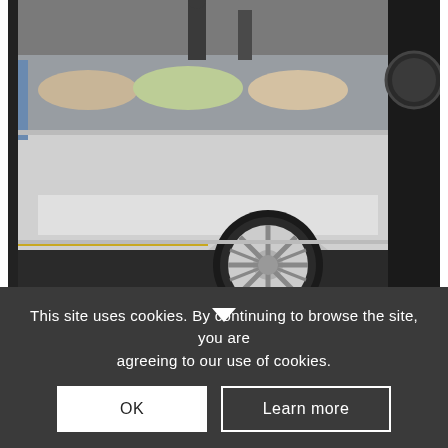[Figure (photo): Photo of an ice cream cart trailer (IJskar Luciano) showing a white trailer body with a large wheel, display case with food items visible, and people in the background. Dark floor/ground visible.]
IJskar Luciano
€ 295,00 excl. BTW
This site uses cookies. By continuing to browse the site, you are agreeing to our use of cookies.
OK
Learn more